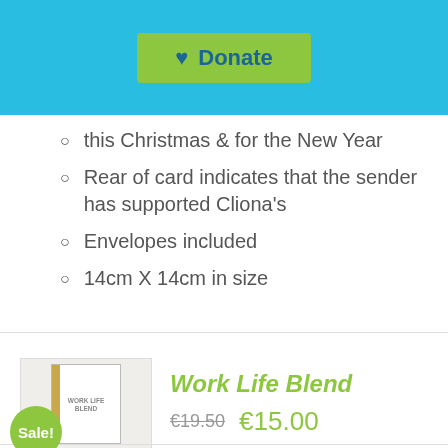[Figure (other): Cyan/blue header bar with a green 'Donate' button featuring a heart icon]
this Christmas & for the New Year
Rear of card indicates that the sender has supported Cliona's
Envelopes included
14cm X 14cm in size
[Figure (photo): Book cover image for Work Life Blend with a Sale! badge overlay]
Work Life Blend
€19.50  €15.00